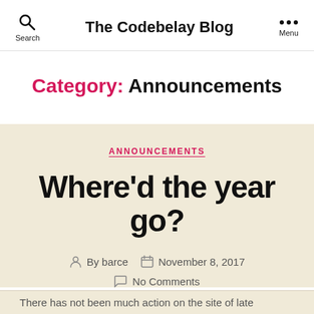The Codebelay Blog
Category: Announcements
ANNOUNCEMENTS
Where'd the year go?
By barce  November 8, 2017  No Comments
There has not been much action on the site of late